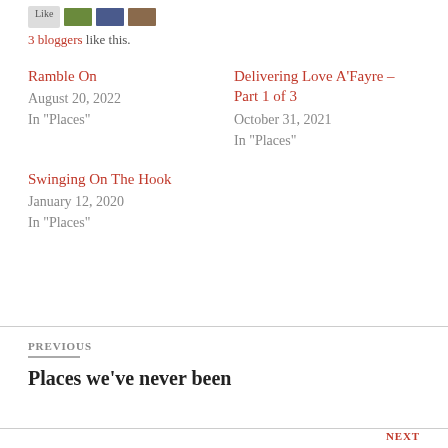3 bloggers like this.
Ramble On
August 20, 2022
In "Places"
Delivering Love A’Fayre – Part 1 of 3
October 31, 2021
In "Places"
Swinging On The Hook
January 12, 2020
In "Places"
PREVIOUS
Places we’ve never been
NEXT